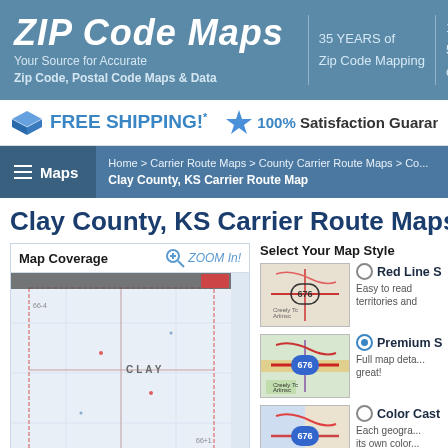ZIP Code Maps — Your Source for Accurate Zip Code, Postal Code Maps & Data — 35 YEARS of Zip Code Mapping — 100% 500 comp
FREE SHIPPING!* 100% Satisfaction Guarantee
Home > Carrier Route Maps > County Carrier Route Maps > Co... — Clay County, KS Carrier Route Map
Clay County, KS Carrier Route Maps
[Figure (map): Map Coverage preview showing Clay County, KS carrier route map with zoom in button]
Select Your Map Style
[Figure (map): Red Line Style map thumbnail showing highway 676 area]
Red Line S... Easy to read territories and...
[Figure (map): Premium Style map thumbnail showing highway 676 area in color]
Premium S... Full map deta... great!
[Figure (map): Color Cast style map thumbnail showing highway 676 area]
Color Cast... Each geogra... its own color...